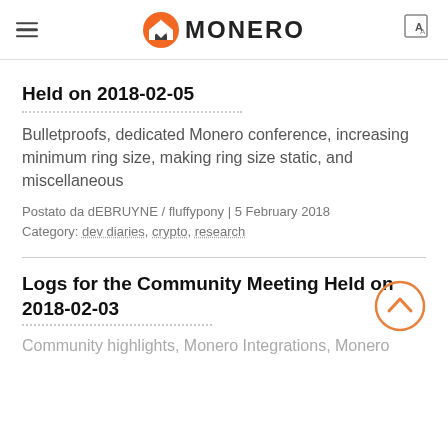MONERO
Held on 2018-02-05
Bulletproofs, dedicated Monero conference, increasing minimum ring size, making ring size static, and miscellaneous
Postato da dEBRUYNE / fluffypony | 5 February 2018
Category: dev diaries, crypto, research
Logs for the Community Meeting Held on 2018-02-03
Community highlights, Monero Integrations, Monero